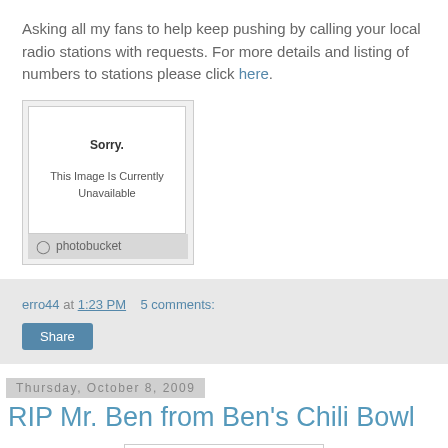Asking all my fans to help keep pushing by calling your local radio stations with requests. For more details and listing of numbers to stations please click here.
[Figure (screenshot): Photobucket image placeholder showing 'Sorry. This Image Is Currently Unavailable' with Photobucket branding at the bottom.]
erro44 at 1:23 PM    5 comments:
Share
Thursday, October 8, 2009
RIP Mr. Ben from Ben's Chili Bowl
[Figure (photo): Partial thumbnail image at the bottom of the page, cut off.]